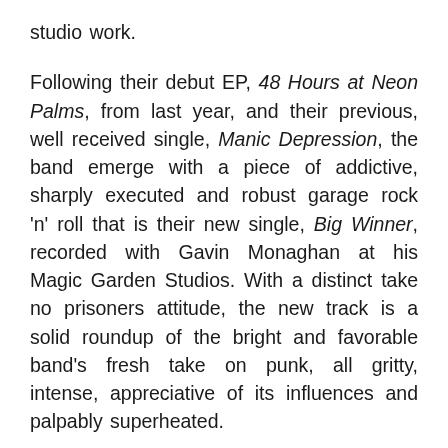studio work.
Following their debut EP, 48 Hours at Neon Palms, from last year, and their previous, well received single, Manic Depression, the band emerge with a piece of addictive, sharply executed and robust garage rock 'n' roll that is their new single, Big Winner, recorded with Gavin Monaghan at his Magic Garden Studios. With a distinct take no prisoners attitude, the new track is a solid roundup of the bright and favorable band's fresh take on punk, all gritty, intense, appreciative of its influences and palpably superheated.
Big Winner is out July 19th, 2019 on These